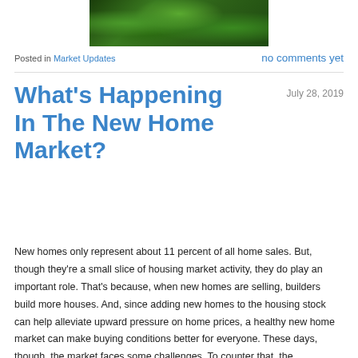[Figure (photo): Aerial or close-up photo of green foliage/trees visible at top of page]
Posted in Market Updates    no comments yet
What's Happening In The New Home Market?
July 28, 2019
New homes only represent about 11 percent of all home sales. But, though they're a small slice of housing market activity, they do play an important role. That's because, when new homes are selling, builders build more houses. And, since adding new homes to the housing stock can help alleviate upward pressure on home prices, a healthy new home market can make buying conditions better for everyone. These days, though, the market faces some challenges. To counter that, the government has been taking steps...